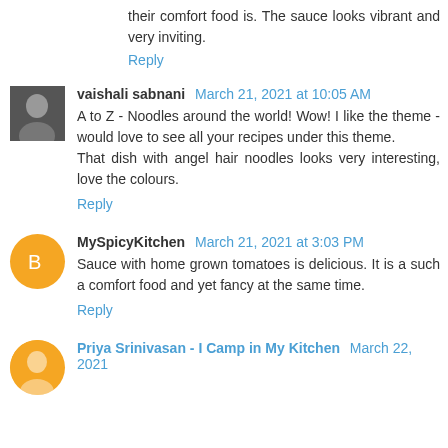their comfort food is. The sauce looks vibrant and very inviting.
Reply
vaishali sabnani March 21, 2021 at 10:05 AM
A to Z - Noodles around the world! Wow! I like the theme - would love to see all your recipes under this theme.
That dish with angel hair noodles looks very interesting, love the colours.
Reply
MySpicyKitchen March 21, 2021 at 3:03 PM
Sauce with home grown tomatoes is delicious. It is a such a comfort food and yet fancy at the same time.
Reply
Priya Srinivasan - I Camp in My Kitchen March 22, 2021